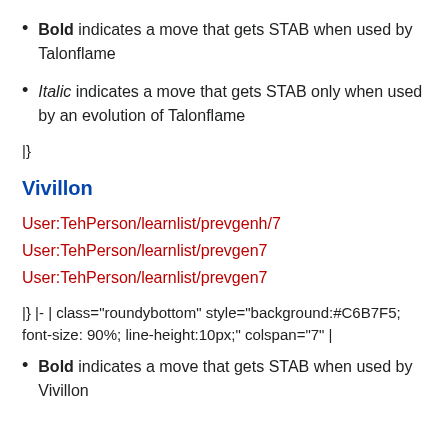Bold indicates a move that gets STAB when used by Talonflame
Italic indicates a move that gets STAB only when used by an evolution of Talonflame
|}
Vivillon
User:TehPerson/learnlist/prevgenh/7
User:TehPerson/learnlist/prevgen7
User:TehPerson/learnlist/prevgen7
|} |- | class="roundybottom" style="background:#C6B7F5; font-size: 90%; line-height:10px;" colspan="7" |
Bold indicates a move that gets STAB when used by Vivillon